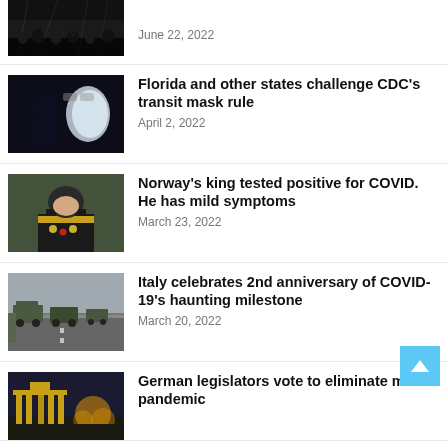[Figure (photo): Concert crowd silhouettes with stage lighting (partially cropped at top)]
June 22, 2022
[Figure (photo): Person silhouetted against airplane window]
Florida and other states challenge CDC's transit mask rule
April 2, 2022
[Figure (photo): Norway's king in military uniform with medals]
Norway's king tested positive for COVID. He has mild symptoms
March 23, 2022
[Figure (photo): Military convoy trucks on Italian highway]
Italy celebrates 2nd anniversary of COVID-19's haunting milestone
March 20, 2022
[Figure (photo): German landmark building illuminated at night]
German legislators vote to eliminate most pandemic